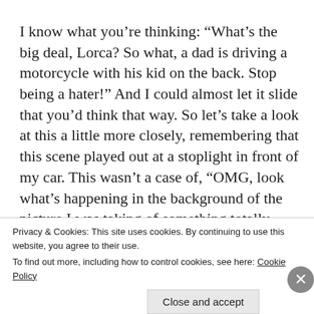I know what you’re thinking: “What’s the big deal, Lorca? So what, a dad is driving a motorcycle with his kid on the back. Stop being a hater!” And I could almost let it slide that you’d think that way. So let’s take a look at this a little more closely, remembering that this scene played out at a stoplight in front of my car. This wasn’t a case of, “OMG, look what’s happening in the background of the picture I was taking of something totally unrelated.”
Privacy & Cookies: This site uses cookies. By continuing to use this website, you agree to their use.
To find out more, including how to control cookies, see here: Cookie Policy
Close and accept
Advertisements
Search, browse, and email